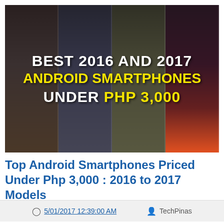[Figure (photo): Blurred background image of four Android smartphones side by side with overlaid text reading BEST 2016 AND 2017 ANDROID SMARTPHONES UNDER PHP 3,000]
Top Android Smartphones Priced Under Php 3,000 : 2016 to 2017 Models
5/01/2017 12:39:00 AM   TechPinas